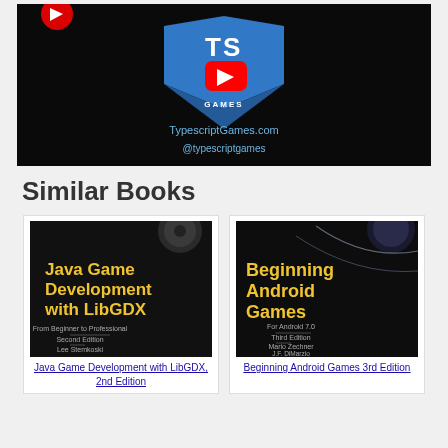[Figure (screenshot): YouTube video thumbnail for TypescriptGames.com channel showing a blue TypeScript shield logo with 'TS' text, a red YouTube play button, 'GAMES' text at the bottom of the shield, and 'TypescriptGames.com @typescriptgames' below, all on a black background.]
Similar Books
[Figure (photo): Book cover of 'Java Game Development with LibGDX, From Beginner to Professional, Second Edition, Lee Stemkoski' with yellow title text on black background.]
Java Game Development with LibGDX, 2nd Edition
[Figure (photo): Book cover of 'Beginning Android Games, For Android 7.0, Third Edition, Mario Zechner, J.F. DiMarzio, Robert Green' with yellow title text on black background.]
Beginning Android Games 3rd Edition